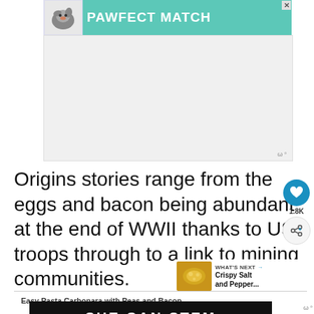[Figure (other): Pawfect Match advertisement banner with a dog graphic and teal/green background, with a close X button]
[Figure (other): Gray advertisement placeholder area with Wunderkind logo mark in bottom right]
Origins stories range from the eggs and bacon being abundant at the end of WWII thanks to US troops through to a link to mining communities.
[Figure (other): Social sharing panel with heart/like button showing 1.8K count and a share button]
[Figure (other): What's Next panel showing Crispy Salt and Pepper... recipe thumbnail]
Easy Pasta Carbonara with Peas and Bacon
[Figure (other): SHE CAN STEM advertisement banner with dark background and white bold text, with Wunderkind logo]